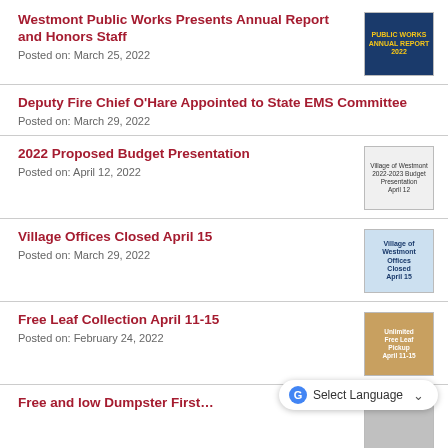Westmont Public Works Presents Annual Report and Honors Staff
Posted on: March 25, 2022
[Figure (photo): Public Works staff photo with yellow text banner]
Deputy Fire Chief O'Hare Appointed to State EMS Committee
Posted on: March 29, 2022
2022 Proposed Budget Presentation
Posted on: April 12, 2022
[Figure (photo): Village of Westmont 2022-2023 Budget Presentation document cover]
Village Offices Closed April 15
Posted on: March 29, 2022
[Figure (photo): Village of Westmont Offices Closed April 15 notice]
Free Leaf Collection April 11-15
Posted on: February 24, 2022
[Figure (photo): Unlimited Free Leaf Pickup April 11-15 flyer]
Select Language
Free and low Dumpster First…